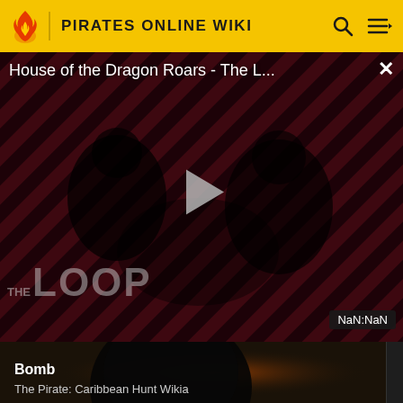PIRATES ONLINE WIKI
[Figure (screenshot): Video player showing 'House of the Dragon Roars - The L...' with a play button, striped red/dark background with two people silhouetted, THE LOOP text overlay, NaN:NaN timer badge, and close button]
Bomb
The Pirate: Caribbean Hunt Wikia